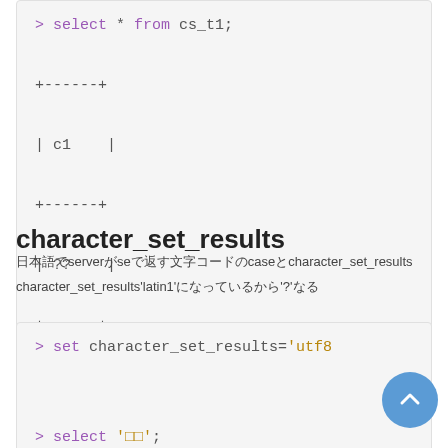> select * from cs_t1;

+------+

| c1   |

+------+

| ??   |

+------+
character_set_results
サーバーがcaseで返す文字コードのcharacter_set_resultsが'latin1'になっているから'?'になる
> set character_set_results='utf8

> select '□□';